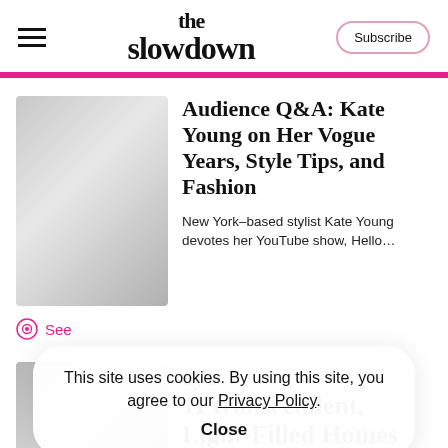the slowdown
[Figure (logo): The Slowdown publication logo in bold serif font]
Audience Q&A: Kate Young on Her Vogue Years, Style Tips, and Fashion
New York–based stylist Kate Young devotes her YouTube show, Hello...
See
This site uses cookies. By using this site, you agree to our Privacy Policy. Close
11 transcendent, Light-Filled Homes